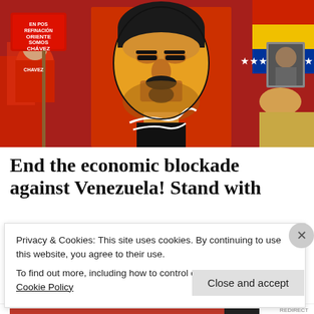[Figure (photo): Crowd of rally-goers in red shirts holding a large stylized portrait poster of Hugo Chávez with orange and black coloring, Venezuelan flags visible in background. A sign reads 'EN POS REFINACIÓN ORIENTE SOMOS CHÁVEZ'.]
End the economic blockade against Venezuela! Stand with
Privacy & Cookies: This site uses cookies. By continuing to use this website, you agree to their use.
To find out more, including how to control cookies, see here: Cookie Policy
Close and accept